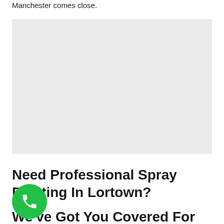Manchester comes close.
[Figure (photo): Light grey placeholder image rectangle]
Need Professional Spray Painting In Lortown?
We've Got You Covered For All Your